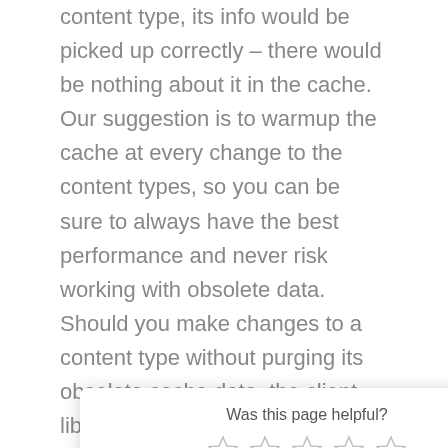content type, its info would be picked up correctly – there would be nothing about it in the cache. Our suggestion is to warmup the cache at every change to the content types, so you can be sure to always have the best performance and never risk working with obsolete data. Should you make changes to a content type without purging its obsolete cache data, the client library will still try to build the entry, but you may find yourself in a situation where some field is not built correctly, and is instead returned "raw", for instance a string rather than a Contentful [code] object, or a Contentful [code] his reason, you should always try to do a cache
[Figure (other): Was this page helpful? popup with 5 empty star rating and an X close button]